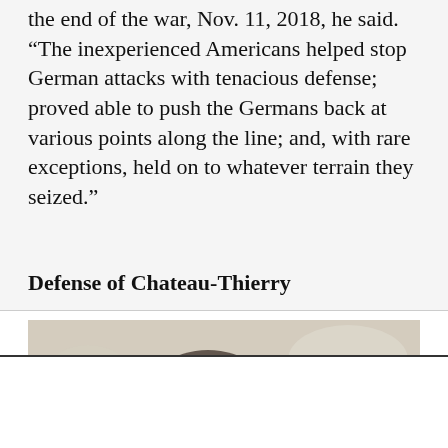the end of the war, Nov. 11, 2018, he said. “The inexperienced Americans helped stop German attacks with tenacious defense; proved able to push the Germans back at various points along the line; and, with rare exceptions, held on to whatever terrain they seized.”
Defense of Chateau-Thierry
[Figure (photo): A historical photograph showing a person, partially cropped, with muted sepia-toned colors suggesting an old WWI-era image.]